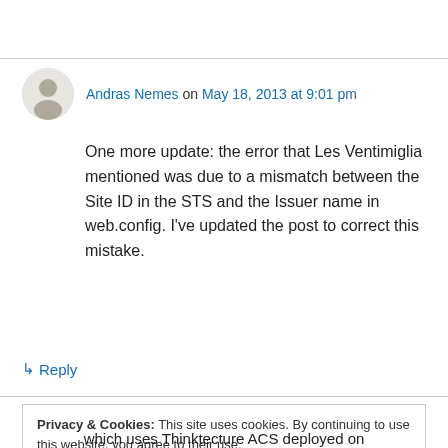Andras Nemes on May 18, 2013 at 9:01 pm
One more update: the error that Les Ventimiglia mentioned was due to a mismatch between the Site ID in the STS and the Issuer name in web.config. I've updated the post to correct this mistake.
↳ Reply
Privacy & Cookies: This site uses cookies. By continuing to use this website, you agree to their use. To find out more, including how to control cookies, see here: Cookie Policy
which uses Thinktecture ACS deployed on